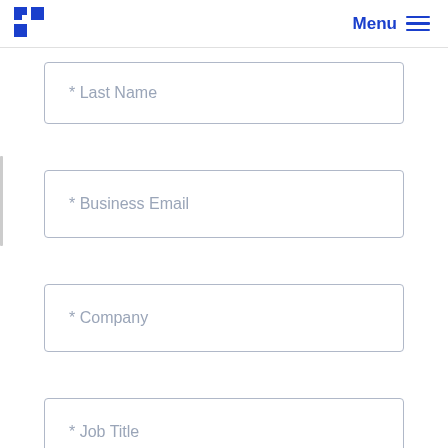Menu
* Last Name
* Business Email
* Company
* Job Title